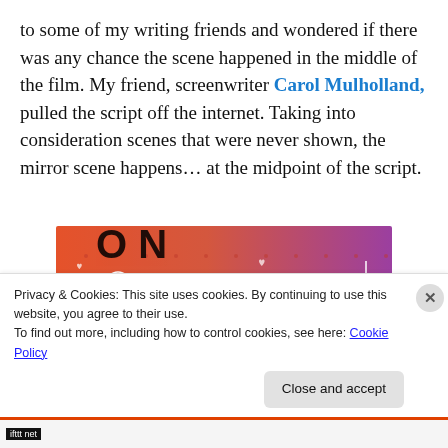to some of my writing friends and wondered if there was any chance the scene happened in the middle of the film. My friend, screenwriter Carol Mulholland, pulled the script off the internet. Taking into consideration scenes that were never shown, the mirror scene happens… at the midpoint of the script.
[Figure (illustration): Colorful Tumblr promotional banner with orange-to-purple gradient background, scattered doodle icons (skull, hearts, arrows, music notes), large black bold letter 'O N' and white bold text 'tumblr', partially cropped at top]
Privacy & Cookies: This site uses cookies. By continuing to use this website, you agree to their use.
To find out more, including how to control cookies, see here: Cookie Policy